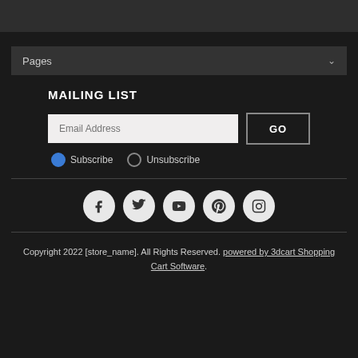Pages
MAILING LIST
Email Address
GO
Subscribe
Unsubscribe
[Figure (other): Social media icons row: Facebook, Twitter, YouTube, Pinterest, Instagram]
Copyright 2022 [store_name]. All Rights Reserved. powered by 3dcart Shopping Cart Software.